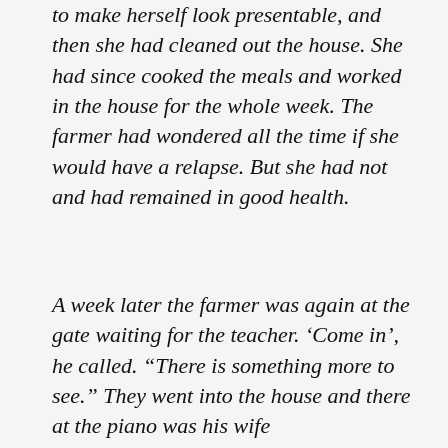to make herself look presentable, and then she had cleaned out the house. She had since cooked the meals and worked in the house for the whole week. The farmer had wondered all the time if she would have a relapse. But she had not and had remained in good health.
A week later the farmer was again at the gate waiting for the teacher. ‘Come in’, he called. “There is something more to see.” They went into the house and there at the piano was his wife